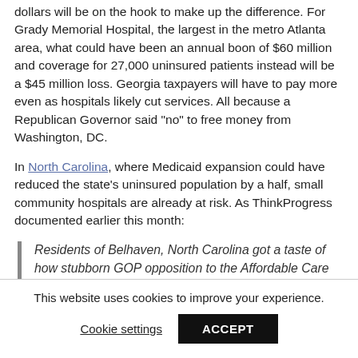dollars will be on the hook to make up the difference. For Grady Memorial Hospital, the largest in the metro Atlanta area, what could have been an annual boon of $60 million and coverage for 27,000 uninsured patients instead will be a $45 million loss. Georgia taxpayers will have to pay more even as hospitals likely cut services. All because a Republican Governor said "no" to free money from Washington, DC.
In North Carolina, where Medicaid expansion could have reduced the state's uninsured population by a half, small community hospitals are already at risk. As ThinkProgress documented earlier this month:
Residents of Belhaven, North Carolina got a taste of how stubborn GOP opposition to the Affordable Care Act can affect them personally
This website uses cookies to improve your experience.
Cookie settings   ACCEPT